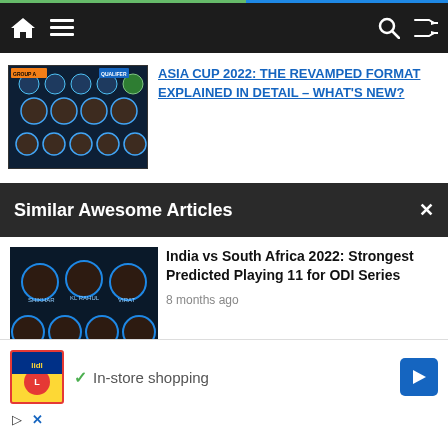Navigation bar with home, menu, search, shuffle icons
ASIA CUP 2022: THE REVAMPED FORMAT EXPLAINED IN DETAIL – WHAT'S NEW?
Similar Awesome Articles
[Figure (photo): Cricket team photo showing Indian players for India vs South Africa 2022 ODI series]
India vs South Africa 2022: Strongest Predicted Playing 11 for ODI Series
8 months ago
[Figure (photo): Cricket team photo showing India vs England players]
India vs England: Player Analysis and Combined best 11
[Figure (other): Lidl advertisement - In-store shopping with navigation arrow]